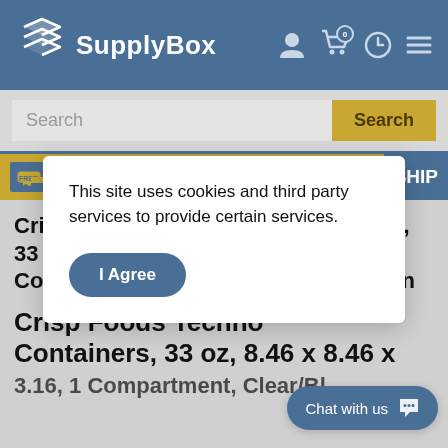SupplyBox
Search
This site uses cookies and third party services to provide certain services.
I Agree
CrispFoods Technologies Containers, 33 oz, 8.46 x 8.46 x 3.16, 1 Compartment, Clear/Black, 180/Carton
Crisp Foods Technologies Containers, 33 oz, 8.46 x 8.46 x 3.16, 1 Compartment, Clear/Black...
Chat with us